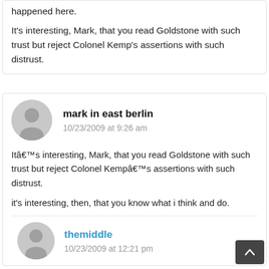happened here.
It's interesting, Mark, that you read Goldstone with such trust but reject Colonel Kemp's assertions with such distrust.
mark in east berlin
10/23/2009 at 9:26 am
Itâ€™s interesting, Mark, that you read Goldstone with such trust but reject Colonel Kempâ€™s assertions with such distrust.
it's interesting, then, that you know what i think and do.
themiddle
10/23/2009 at 12:21 pm